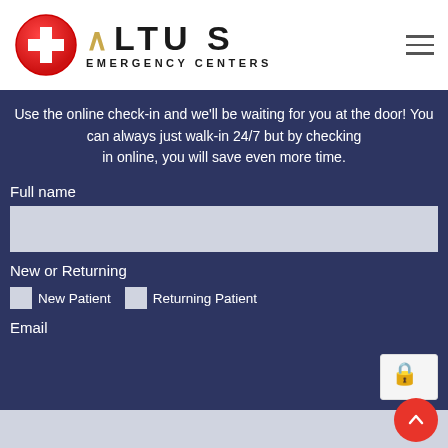[Figure (logo): Altus Emergency Centers logo with red cross circle icon and gold caret symbol]
Use the online check-in and we'll be waiting for you at the door! You can always just walk-in 24/7 but by checking in online, you will save even more time.
Full name
New or Returning
New Patient
Returning Patient
Email